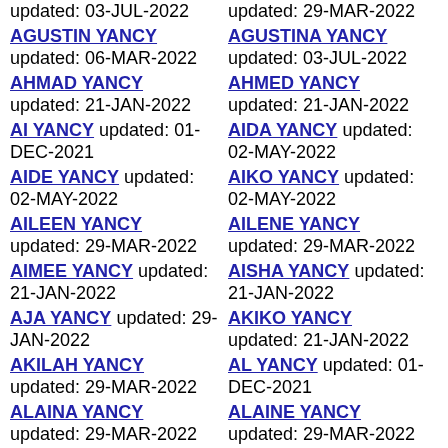updated: 03-JUL-2022
AGUSTIN YANCY updated: 06-MAR-2022
AHMAD YANCY updated: 21-JAN-2022
AI YANCY updated: 01-DEC-2021
AIDE YANCY updated: 02-MAY-2022
AILEEN YANCY updated: 29-MAR-2022
AIMEE YANCY updated: 21-JAN-2022
AJA YANCY updated: 29-JAN-2022
AKILAH YANCY updated: 29-MAR-2022
ALAINA YANCY updated: 29-MAR-2022
ALAN YANCY updated:
updated: 29-MAR-2022
AGUSTINA YANCY updated: 03-JUL-2022
AHMED YANCY updated: 21-JAN-2022
AIDA YANCY updated: 02-MAY-2022
AIKO YANCY updated: 02-MAY-2022
AILENE YANCY updated: 29-MAR-2022
AISHA YANCY updated: 21-JAN-2022
AKIKO YANCY updated: 21-JAN-2022
AL YANCY updated: 01-DEC-2021
ALAINE YANCY updated: 29-MAR-2022
ALANA YANCY